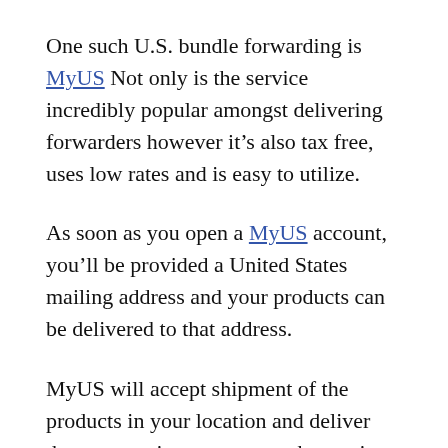One such U.S. bundle forwarding is MyUS Not only is the service incredibly popular amongst delivering forwarders however it’s also tax free, uses low rates and is easy to utilize.
As soon as you open a MyUS account, you’ll be provided a United States mailing address and your products can be delivered to that address.
MyUS will accept shipment of the products in your location and deliver them to you in your country by carrier service.
If you have any difficulties with your order, MyUS offers a concierge service that is able to location